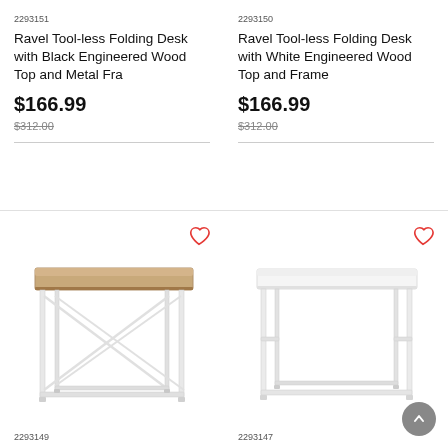2293151
Ravel Tool-less Folding Desk with Black Engineered Wood Top and Metal Fra
$166.99
$312.00
2293150
Ravel Tool-less Folding Desk with White Engineered Wood Top and Frame
$166.99
$312.00
[Figure (photo): Ravel Tool-less Folding Desk with natural/oak wood top and white metal X-brace frame legs, product SKU 2293149]
[Figure (photo): Ravel Tool-less Folding Desk with white wood top and white metal frame legs, product SKU 2293147]